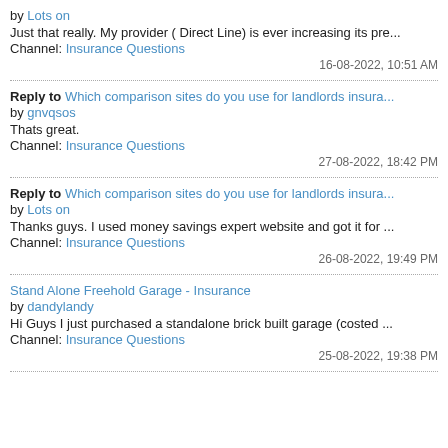by Lots on
Just that really. My provider ( Direct Line) is ever increasing its pre...
Channel: Insurance Questions
16-08-2022, 10:51 AM
Reply to Which comparison sites do you use for landlords insura...
by gnvqsos
Thats great.
Channel: Insurance Questions
27-08-2022, 18:42 PM
Reply to Which comparison sites do you use for landlords insura...
by Lots on
Thanks guys. I used money savings expert website and got it for ...
Channel: Insurance Questions
26-08-2022, 19:49 PM
Stand Alone Freehold Garage - Insurance
by dandylandy
Hi Guys I just purchased a standalone brick built garage (costed ...
Channel: Insurance Questions
25-08-2022, 19:38 PM